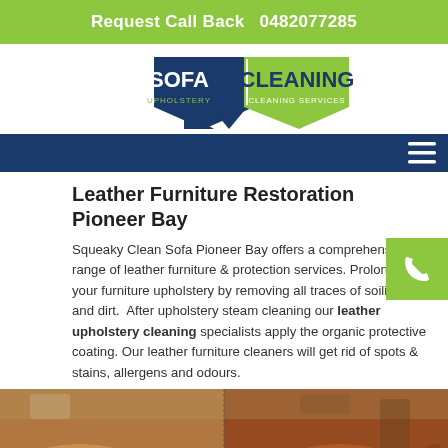Request Call Back   0482077285
[Figure (logo): Sofa Cleaning Upholstery / Cleaning Services logo with two arrow-like shapes]
Leather Furniture Restoration Pioneer Bay
Squeaky Clean Sofa Pioneer Bay offers a comprehensive range of leather furniture & protection services. Prolong life your furniture upholstery by removing all traces of soiling and dirt. After upholstery steam cleaning our leather upholstery cleaning specialists apply the organic protective coating. Our leather furniture cleaners will get rid of spots & stains, allergens and odours.
[Figure (photo): Before and after photo of a brown leather sofa being cleaned/restored]